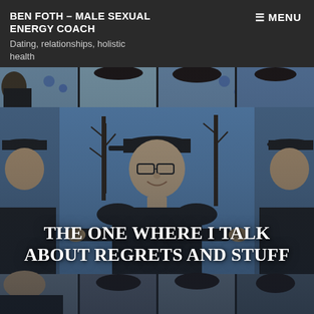BEN FOTH – MALE SEXUAL ENERGY COACH
Dating, relationships, holistic health
MENU
[Figure (photo): Mosaic/tiled collage of a man wearing a black cap and black t-shirt outdoors against a blue sky with trees in the background. The photo is repeated and tiled in a grid pattern.]
THE ONE WHERE I TALK ABOUT REGRETS AND STUFF